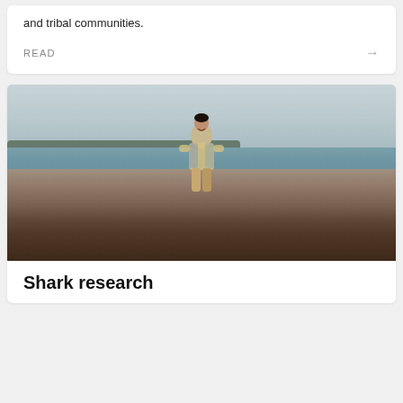and tribal communities.
READ →
[Figure (photo): Young man in a tie-dye hoodie and khaki pants smiling while standing on large rocks by a body of water with a treeline and overcast sky in the background.]
Shark research